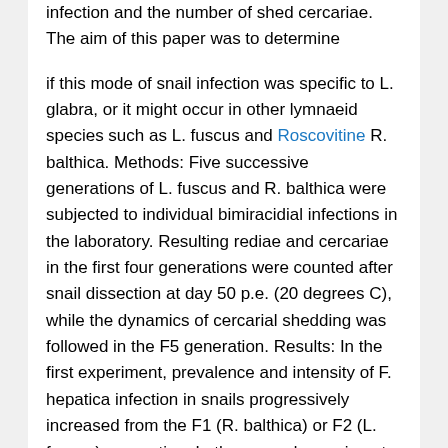infection and the number of shed cercariae. The aim of this paper was to determine
if this mode of snail infection was specific to L. glabra, or it might occur in other lymnaeid species such as L. fuscus and Roscovitine R. balthica. Methods: Five successive generations of L. fuscus and R. balthica were subjected to individual bimiracidial infections in the laboratory. Resulting rediae and cercariae in the first four generations were counted after snail dissection at day 50 p.e. (20 degrees C), while the dynamics of cercarial shedding was followed in the F5 generation. Results: In the first experiment, prevalence and intensity of F. hepatica infection in snails progressively increased from the F1 (R. balthica) or F2 (L. fuscus) generation. In the second experiment, the prevalence of F. hepatica infection and the number of shed cercariae were significantly lower in L. fuscus and R. balthica (without significant differences between both lymnaeids) than in G. truncatula.
Conclusion: The F. hepatica infection of several successive snail generations, coming from parents